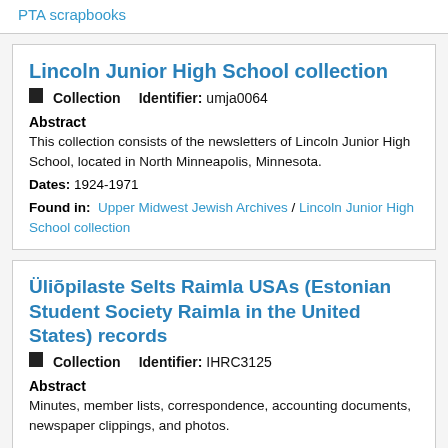PTA scrapbooks
Lincoln Junior High School collection
Collection   Identifier: umja0064
Abstract
This collection consists of the newsletters of Lincoln Junior High School, located in North Minneapolis, Minnesota.
Dates: 1924-1971
Found in: Upper Midwest Jewish Archives / Lincoln Junior High School collection
Üliõpilaste Selts Raimla USAs (Estonian Student Society Raimla in the United States) records
Collection   Identifier: IHRC3125
Abstract
Minutes, member lists, correspondence, accounting documents, newspaper clippings, and photos.